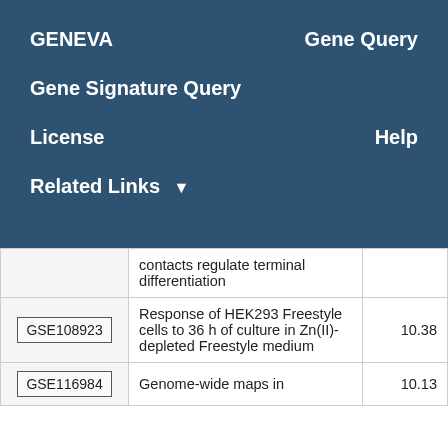GENEVA    Gene Query
Gene Signature Query
License    Help
Related Links ▼
|  | Description | Score |
| --- | --- | --- |
|  | contacts regulate terminal differentiation |  |
| GSE108923 | Response of HEK293 Freestyle cells to 36 h of culture in Zn(II)-depleted Freestyle medium | 10.38 |
| GSE116984 | Genome-wide maps in M... | 10.13 |